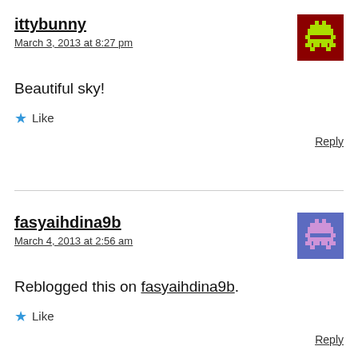ittybunny
March 3, 2013 at 8:27 pm
Beautiful sky!
Like
Reply
fasyaihdina9b
March 4, 2013 at 2:56 am
Reblogged this on fasyaihdina9b.
Like
Reply